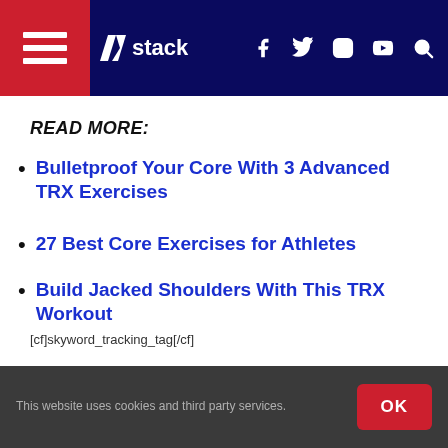stack
READ MORE:
Bulletproof Your Core With 3 Advanced TRX Exercises
27 Best Core Exercises for Athletes
Build Jacked Shoulders With This TRX Workout
[cf]skyword_tracking_tag[/cf]
[Figure (screenshot): Advertisement for Easy Day Yoga Leesburg with blue background. Text reads: Easy Day Yoga Leesburg, Our Goal to Be a Soft Place to Land in Our Community.]
This website uses cookies and third party services.